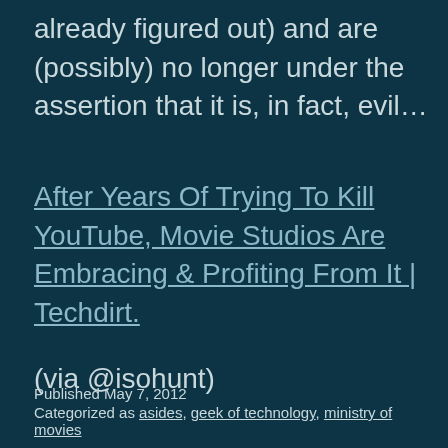already figured out) and are (possibly) no longer under the assertion that it is, in fact, evil…
After Years Of Trying To Kill YouTube, Movie Studios Are Embracing & Profiting From It | Techdirt.
(via @isohunt)
Published May 7, 2012
Categorized as asides, geek of technology, ministry of movies